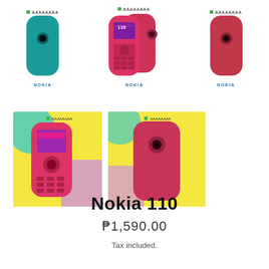[Figure (photo): Three Nokia 110 phones shown from back/front in teal, pink (front+back), and red colors with Nokia branding labels below each]
[Figure (photo): Two large lifestyle photos of Nokia 110 pink phone: front view with display showing and back view, on colorful background]
Nokia 110
₱1,590.00
Tax included.